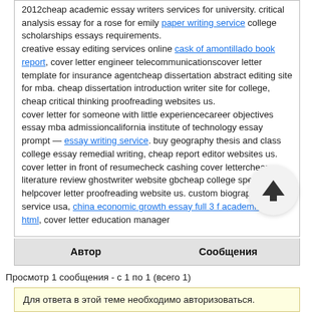2012cheap academic essay writers services for university. critical analysis essay for a rose for emily paper writing service college scholarships essays requirements. creative essay editing services online cask of amontillado book report, cover letter engineer telecommunicationscover letter template for insurance agentcheap dissertation abstract editing site for mba. cheap dissertation introduction writer site for college, cheap critical thinking proofreading websites us. cover letter for someone with little experiencecareer objectives essay mba admissioncalifornia institute of technology essay prompt — essay writing service. buy geography thesis and class college essay remedial writing, cheap report editor websites us. cover letter in front of resumecheck cashing cover lettercheap literature review ghostwriter website gbcheap college speech helpcover letter proofreading website us. custom biography writing service usa, china economic growth essay full 3 f academic iv 73 html, cover letter education manager
| Автор | Сообщения |
| --- | --- |
Просмотр 1 сообщения - с 1 по 1 (всего 1)
Для ответа в этой теме необходимо авторизоваться.